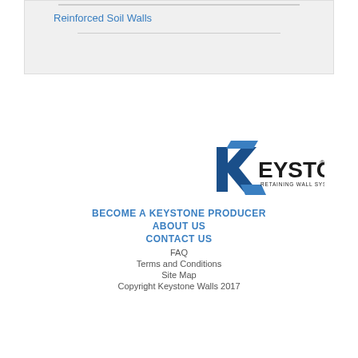Reinforced Soil Walls
[Figure (logo): Keystone Retaining Wall Systems logo — stylized K with blue angular shapes and text 'KEYSTONE RETAINING WALL SYSTEMS' with registered trademark symbol]
BECOME A KEYSTONE PRODUCER
ABOUT US
CONTACT US
FAQ
Terms and Conditions
Site Map
Copyright Keystone Walls 2017